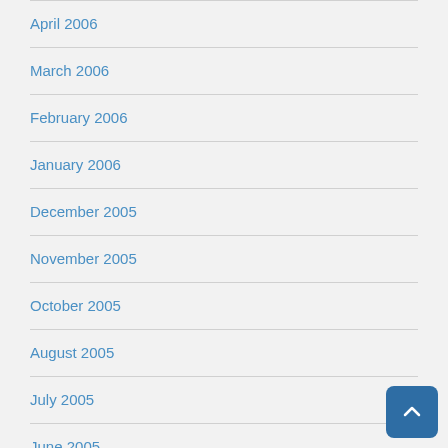April 2006
March 2006
February 2006
January 2006
December 2005
November 2005
October 2005
August 2005
July 2005
June 2005
December 2004
April 2004